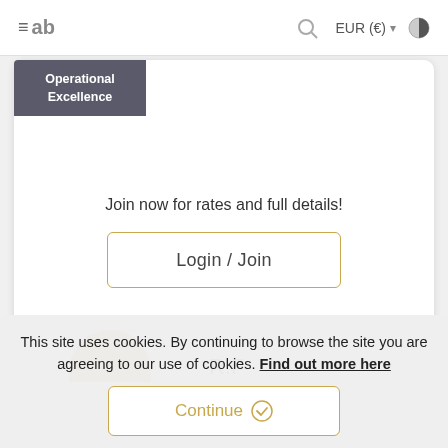≡ ab   🔍   EUR (€) ▾  ◑
Operational Excellence
Join now for rates and full details!
Login / Join
R.F
This site uses cookies. By continuing to browse the site you are agreeing to our use of cookies. Find out more here
Continue